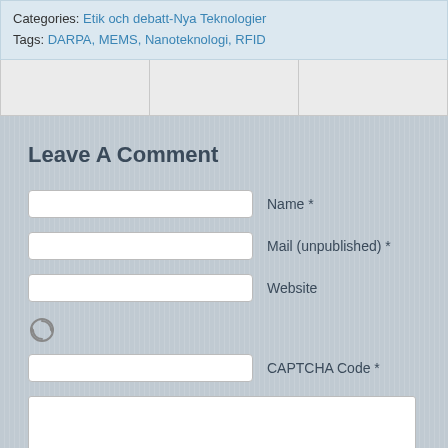Categories: Etik och debatt-Nya Teknologier
Tags: DARPA, MEMS, Nanoteknologi, RFID
[Figure (other): Navigation strip with three empty gray cells side by side]
Leave A Comment
Name *
Mail (unpublished) *
Website
[Figure (other): Refresh/CAPTCHA icon (circular arrows)]
CAPTCHA Code *
(comment textarea — empty white box)